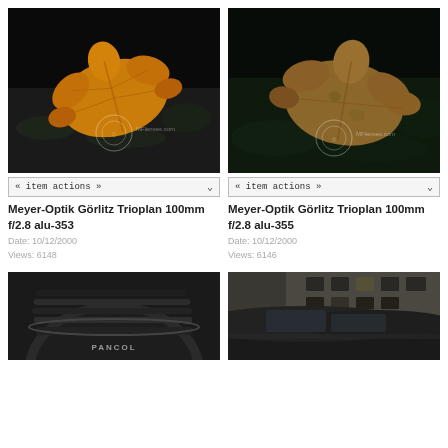[Figure (photo): Autumn orange maple leaf on dark textured background with MFlenses.com watermark]
« item actions »
Meyer-Optik Görlitz Trioplan 100mm f/2.8 alu-353
Date: 10/12/2000
Views: 6148
[Figure (photo): Autumn brown maple leaf on dark green moss background with MFlenses.com watermark]
« item actions »
Meyer-Optik Görlitz Trioplan 100mm f/2.8 alu-355
Date: 10/12/2000
Views: 6146
[Figure (photo): Close-up of camera lens (Pancolar) from below, dark grey metallic body]
[Figure (photo): Street scene with dark car and urban building background]